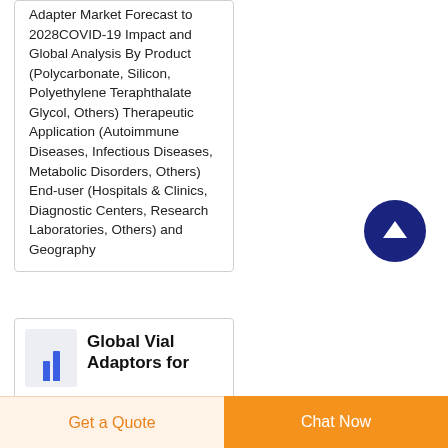Adapter Market Forecast to 2028COVID-19 Impact and Global Analysis By Product (Polycarbonate, Silicon, Polyethylene Teraphthalate Glycol, Others) Therapeutic Application (Autoimmune Diseases, Infectious Diseases, Metabolic Disorders, Others) End-user (Hospitals & Clinics, Diagnostic Centers, Research Laboratories, Others) and Geography
[Figure (other): Dark navy blue circular scroll-to-top button with upward arrow icon]
[Figure (other): Small bar chart thumbnail icon in light purple/blue square]
Global Vial Adaptors for
Get a Quote    Chat Now